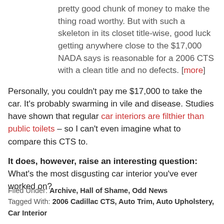pretty good chunk of money to make the thing road worthy. But with such a skeleton in its closet title-wise, good luck getting anywhere close to the $17,000 NADA says is reasonable for a 2006 CTS with a clean title and no defects. [more]
Personally, you couldn't pay me $17,000 to take the car. It's probably swarming in vile and disease. Studies have shown that regular car interiors are filthier than public toilets – so I can't even imagine what to compare this CTS to.
It does, however, raise an interesting question: What's the most disgusting car interior you've ever worked on?
Filed Under: Archive, Hall of Shame, Odd News
Tagged With: 2006 Cadillac CTS, Auto Trim, Auto Upholstery, Car Interior